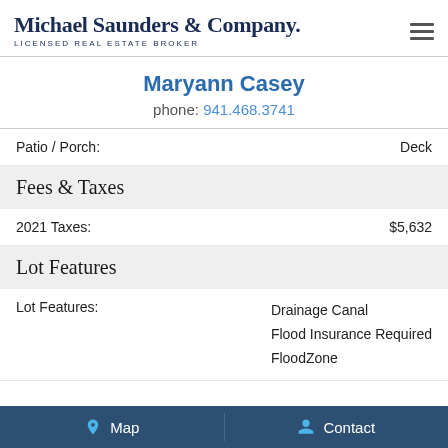Michael Saunders & Company. LICENSED REAL ESTATE BROKER
Maryann Casey
phone: 941.468.3741
Patio / Porch: Deck
Fees & Taxes
2021 Taxes: $5,632
Lot Features
Lot Features: Drainage Canal, Flood Insurance Required, FloodZone
Map   Contact